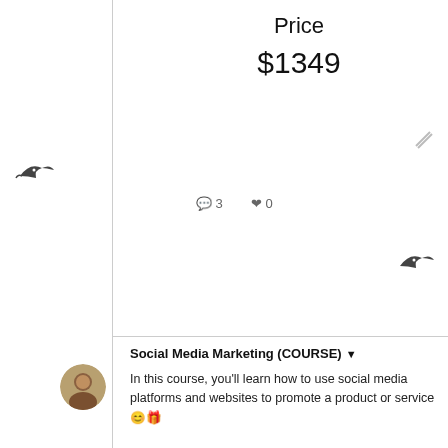Price
$1349
🐦 3   🐦 0
Social Media Marketing (COURSE) ▾
In this course, you'll learn how to use social media platforms and websites to promote a product or service 😊🎁
The lessons included are:
LESSON 1:
Fundamentals of Digital Marketing, Online Visibility Development & Sales Strategies
LESSON 2
Social Media Advertising, Optimizing Ads A/B Split